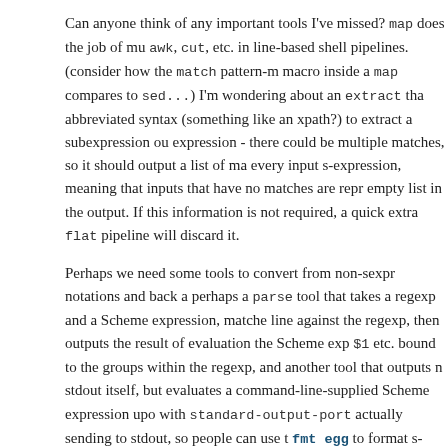Can anyone think of any important tools I've missed? map does the job of mu awk, cut, etc. in line-based shell pipelines. (consider how the match pattern-macro inside a map compares to sed...) I'm wondering about an extract that abbreviated syntax (something like an xpath?) to extract a subexpression ou expression - there could be multiple matches, so it should output a list of ma every input s-expression, meaning that inputs that have no matches are repr empty list in the output. If this information is not required, a quick extra flat pipeline will discard it.
Perhaps we need some tools to convert from non-sexpr notations and back a perhaps a parse tool that takes a regexp and a Scheme expression, matche line against the regexp, then outputs the result of evaluation the Scheme exp $1 etc. bound to the groups within the regexp, and another tool that outputs n stdout itself, but evaluates a command-line-supplied Scheme expression upo with standard-output-port actually sending to stdout, so people can use t fmt egg to format s-expressions into raw text output (or just display for sim
Maybe the next step would be s-expression-outputting versions of ls and ps them easier to handle 🙂
Scheme | alaric | Thu 25th Jun 2009 12:00 am
5 Comments
By Ben, Thu 25th Jun 2009 @ 11:51 am